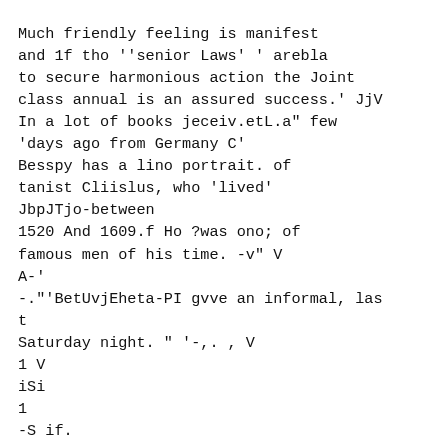Much friendly feeling is manifest
and 1f tho ''senior Laws' ' arebla
to secure harmonious action the Joint
class annual is an assured success.' JjV
In a lot of books jeceiv.etL.a" few
'days ago from Germany C'
Besspy has a lino portrait. of
tanist Cliislus, who 'lived'
JbpJTjo-between
1520 And 1609.f Ho ?was ono; of
famous men of his time. -v" V
A-'
-."'BetUvjEheta-PI gvve an informal, las
t
Saturday night. " '-,. , V
1 V
iSi
1
-S if.